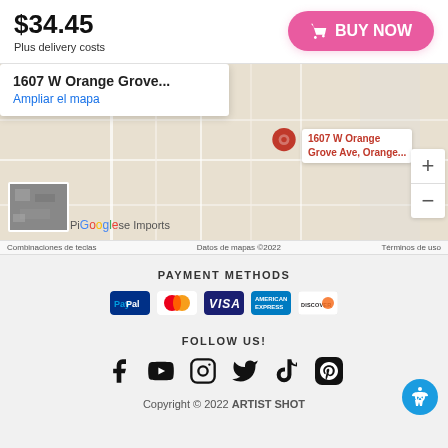$34.45
Plus delivery costs
BUY NOW
[Figure (map): Google Maps showing location at 1607 W Orange Grove Ave, Orange with a red pin marker, zoom controls, satellite thumbnail, Google logo, and map attribution footer in Spanish.]
PAYMENT METHODS
[Figure (infographic): Payment method icons: PayPal, Mastercard, Visa, American Express, Discover]
FOLLOW US!
[Figure (infographic): Social media icons: Facebook, YouTube, Instagram, Twitter, TikTok, Pinterest]
Copyright © 2022 ARTIST SHOT